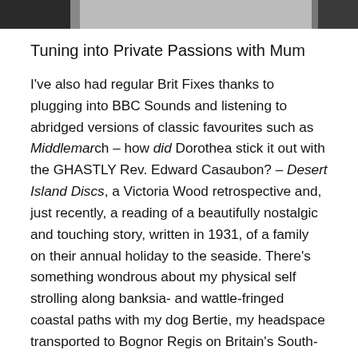[Figure (photo): Partial photograph strip at top of page showing blurred images]
Tuning into Private Passions with Mum
I've also had regular Brit Fixes thanks to plugging into BBC Sounds and listening to abridged versions of classic favourites such as Middlemarch – how did Dorothea stick it out with the GHASTLY Rev. Edward Casaubon? – Desert Island Discs, a Victoria Wood retrospective and, just recently, a reading of a beautifully nostalgic and touching story, written in 1931, of a family on their annual holiday to the seaside. There's something wondrous about my physical self strolling along banksia- and wattle-fringed coastal paths with my dog Bertie, my headspace transported to Bognor Regis on Britain's South-East coast, following the Stevens family strolling along the Promenade. Escaping the humdrum of everyday life, excitements back then included freedom from wearing